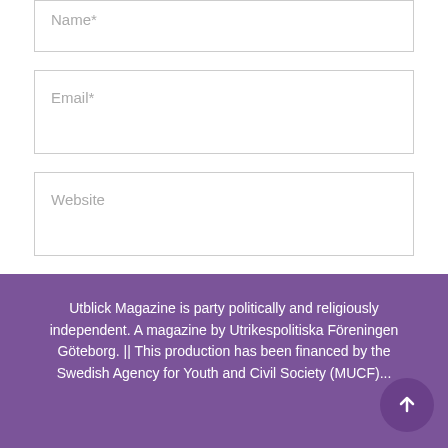Name*
Email*
Website
POST COMMENT
Utblick Magazine is party politically and religiously independent. A magazine by Utrikespolitiska Föreningen Göteborg. || This production has been financed by the Swedish Agency for Youth and Civil Society (MUCF)...